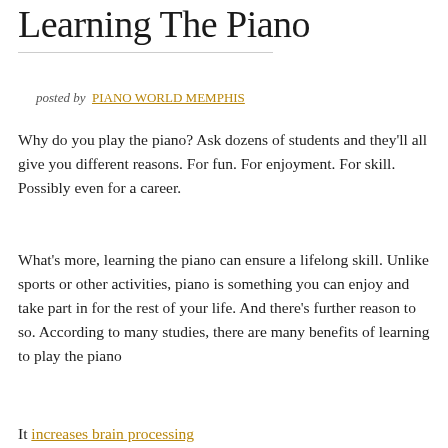Learning The Piano
posted by  PIANO WORLD MEMPHIS
Why do you play the piano? Ask dozens of students and they'll all give you different reasons. For fun. For enjoyment. For skill. Possibly even for a career.
What's more, learning the piano can ensure a lifelong skill. Unlike sports or other activities, piano is something you can enjoy and take part in for the rest of your life. And there's further reason to so. According to many studies, there are many benefits of learning to play the piano
It increases brain processing